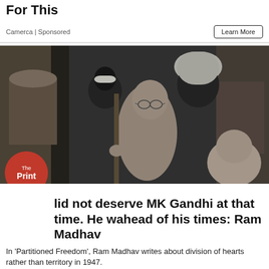For This
Camerca | Sponsored
[Figure (photo): Black and white historical photograph showing Mahatma Gandhi (bare-chested, wearing glasses) surrounded by several men including one wearing a white turban and another in a white cap. Gandhi appears to be holding a walking staff.]
…lid not deserve MK Gandhi at that time. He w…ahead of his times: Ram Madhav
In 'Partitioned Freedom', Ram Madhav writes about division of hearts rather than territory in 1947.
ThePrint